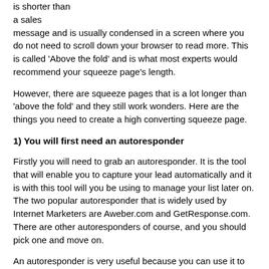is shorter than a sales message and is usually condensed in a screen where you do not need to scroll down your browser to read more. This is called 'Above the fold' and is what most experts would recommend your squeeze page's length.
However, there are squeeze pages that is a lot longer than 'above the fold' and they still work wonders. Here are the things you need to create a high converting squeeze page.
1) You will first need an autoresponder
Firstly you will need to grab an autoresponder. It is the tool that will enable you to capture your lead automatically and it is with this tool will you be using to manage your list later on. The two popular autoresponder that is widely used by Internet Marketers are Aweber.com and GetResponse.com. There are other autoresponders of course, and you should pick one and move on.
An autoresponder is very useful because you can use it to